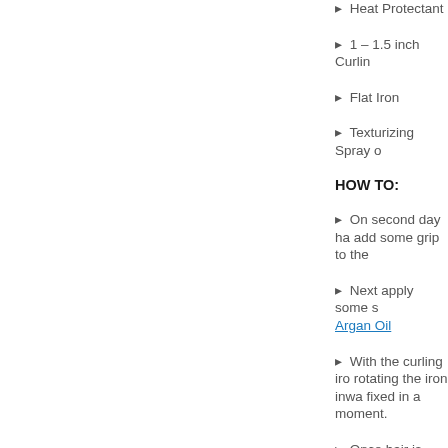▸ Heat Protectant
▸ 1 – 1.5 inch Curlin
▸ Flat Iron
▸ Texturizing Spray o
HOW TO:
▸ On second day ha add some grip to the
▸ Next apply some s Argan Oil
▸ With the curling iro rotating the iron inwa fixed in a moment.
▸ Once hair is curled inches from bottom.
▸ If happy with the re curly/prom curls" –